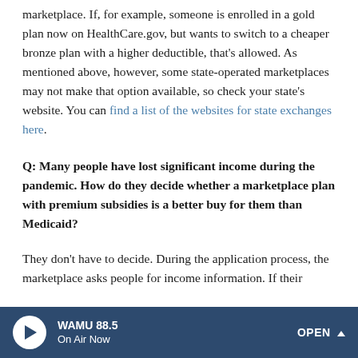marketplace. If, for example, someone is enrolled in a gold plan now on HealthCare.gov, but wants to switch to a cheaper bronze plan with a higher deductible, that's allowed. As mentioned above, however, some state-operated marketplaces may not make that option available, so check your state's website. You can find a list of the websites for state exchanges here.
Q: Many people have lost significant income during the pandemic. How do they decide whether a marketplace plan with premium subsidies is a better buy for them than Medicaid?
They don't have to decide. During the application process, the marketplace asks people for income information. If their
WAMU 88.5 | On Air Now | OPEN